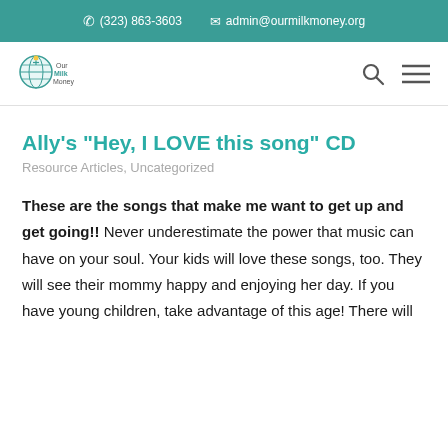(323) 863-3603   admin@ourmilkmoney.org
[Figure (logo): Our Milk Money logo - circular icon with figure and text]
Ally's "Hey, I LOVE this song" CD
Resource Articles, Uncategorized
These are the songs that make me want to get up and get going!! Never underestimate the power that music can have on your soul. Your kids will love these songs, too. They will see their mommy happy and enjoying her day. If you have young children, take advantage of this age! There will